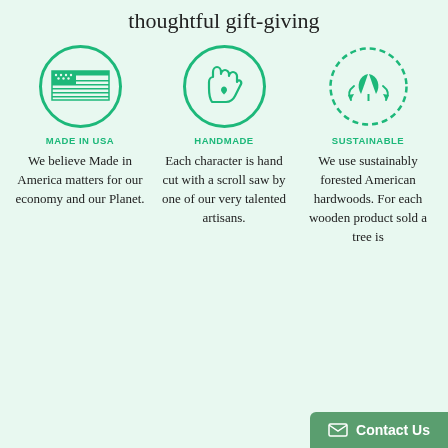thoughtful gift-giving
[Figure (illustration): Three circular icons in green: 1) Made in USA - American flag inside circle, 2) Handmade - hand with heart inside circle, 3) Sustainable - dashed circle with leaves and arrows]
MADE IN USA
HANDMADE
SUSTAINABLE
We believe Made in America matters for our economy and our Planet.
Each character is hand cut with a scroll saw by one of our very talented artisans.
We use sustainably forested American hardwoods. For each wooden product sold a tree is
Contact Us